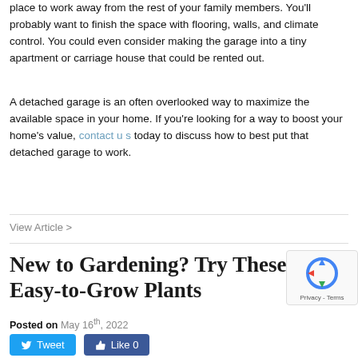place to work away from the rest of your family members. You'll probably want to finish the space with flooring, walls, and climate control. You could even consider making the garage into a tiny apartment or carriage house that could be rented out.
A detached garage is an often overlooked way to maximize the available space in your home. If you're looking for a way to boost your home's value, contact us today to discuss how to best put that detached garage to work.
View Article >
New to Gardening? Try These Easy-to-Grow Plants
Posted on May 16th, 2022
Tweet  Like 0